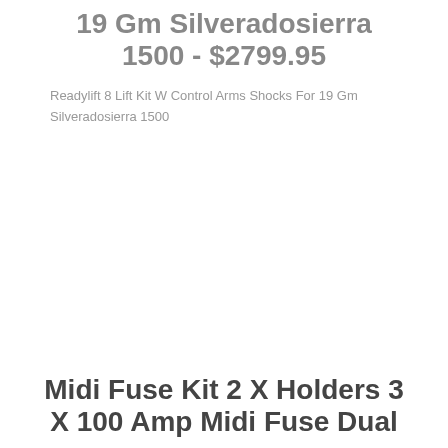19 Gm Silveradosierra 1500 - $2799.95
Readylift 8 Lift Kit W Control Arms Shocks For 19 Gm Silveradosierra 1500
Midi Fuse Kit 2 X Holders 3 X 100 Amp Midi Fuse Dual